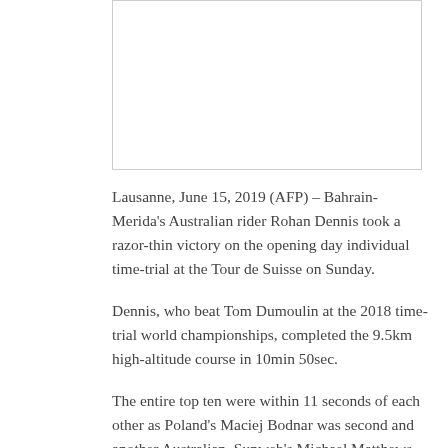[Figure (photo): Photograph placeholder at the top of the article]
Lausanne, June 15, 2019 (AFP) – Bahrain-Merida's Australian rider Rohan Dennis took a razor-thin victory on the opening day individual time-trial at the Tour de Suisse on Sunday.
Dennis, who beat Tom Dumoulin at the 2018 time-trial world championships, completed the 9.5km high-altitude course in 10min 50sec.
The entire top ten were within 11 seconds of each other as Poland's Maciej Bodnar was second and another Australian, Sunweb's Michael Matthews, was third.
For Dennis, the victory is his first since joining Bahrain from BMC, and his first time trial win